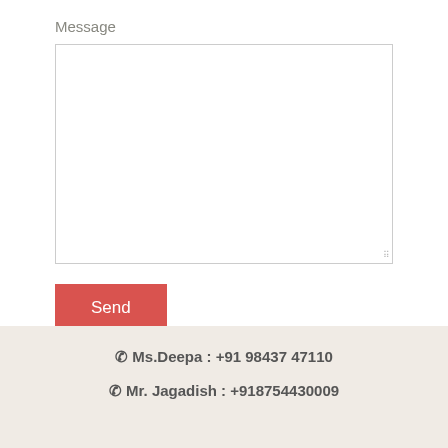Message
[Figure (screenshot): Empty textarea input field with resize handle in bottom-right corner]
[Figure (screenshot): Red Send button]
☎ Ms.Deepa : +91 98437 47110
☎ Mr. Jagadish : +918754430009